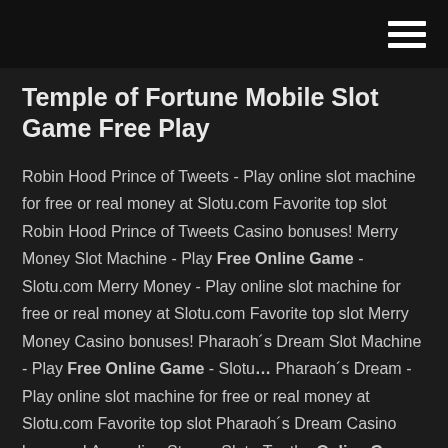[hamburger menu icon]
Temple of Fortune Mobile Slot Game Free Play
Robin Hood Prince of Tweets - Play online slot machine for free or real money at Slotu.com Favorite top slot Robin Hood Prince of Tweets Casino bonuses! Merry Money Slot Machine - Play Free Online Game - Slotu.com Merry Money - Play online slot machine for free or real money at Slotu.com Favorite top slot Merry Money Casino bonuses! Pharaoh´s Dream Slot Machine - Play Free Online Game - Slotu… Pharaoh´s Dream - Play online slot machine for free or real money at Slotu.com Favorite top slot Pharaoh´s Dream Casino bonuses! Asgardian Stones Slot - Try the Online Game for Free Now